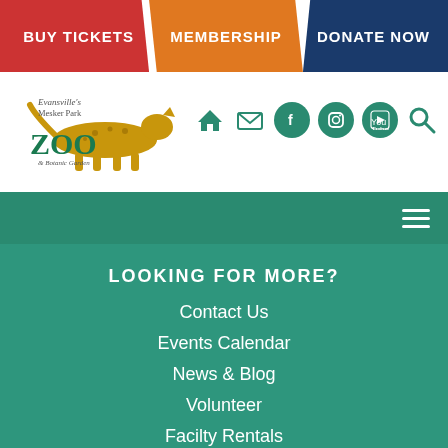[Figure (screenshot): Website header with three navigation buttons: BUY TICKETS (red), MEMBERSHIP (orange), DONATE NOW (dark blue)]
[Figure (logo): Evansville's Mesker Park Zoo & Botanic Garden logo with golden cheetah]
[Figure (infographic): Social media and navigation icons: home, email, Facebook, Instagram, YouTube, search]
[Figure (infographic): Teal navigation bar with hamburger menu icon]
LOOKING FOR MORE?
Contact Us
Events Calendar
News & Blog
Volunteer
Facilty Rentals